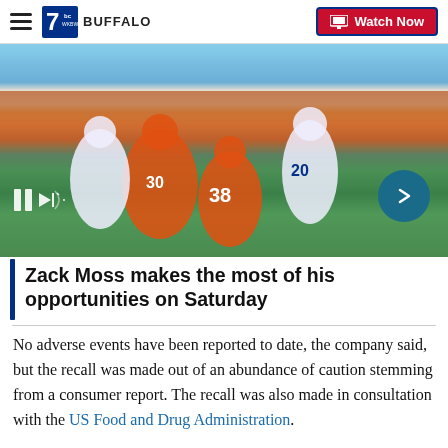7 BUFFALO — Watch Now
[Figure (photo): Football game action shot showing Buffalo Bills and Denver Broncos players on the field during a game, with a large crowd in the background.]
Zack Moss makes the most of his opportunities on Saturday
No adverse events have been reported to date, the company said, but the recall was made out of an abundance of caution stemming from a consumer report. The recall was also made in consultation with the US Food and Drug Administration.